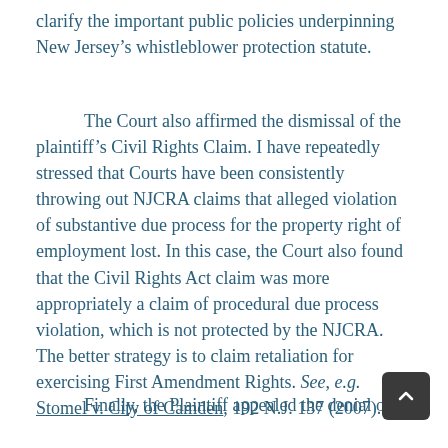clarify the important public policies underpinning New Jersey’s whistleblower protection statute.
The Court also affirmed the dismissal of the plaintiff’s Civil Rights Claim. I have repeatedly stressed that Courts have been consistently throwing out NJCRA claims that alleged violation of substantive due process for the property right of employment lost. In this case, the Court also found that the Civil Rights Act claim was more appropriately a claim of procedural due process violation, which is not protected by the NJCRA. The better strategy is to claim retaliation for exercising First Amendment Rights. See, e.g. Stomel v. City of Camden, 192 N.J. 137 (2007).
Finally, the Plaintiff appealed the denial of a